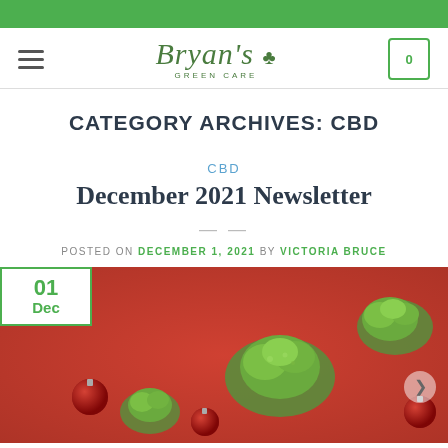Bryan's Green Care — website header with navigation
CATEGORY ARCHIVES: CBD
CBD
December 2021 Newsletter
POSTED ON DECEMBER 1, 2021 BY VICTORIA BRUCE
[Figure (photo): Cannabis buds and red Christmas ornaments on a red background, with a white date badge showing 01 Dec in green text]